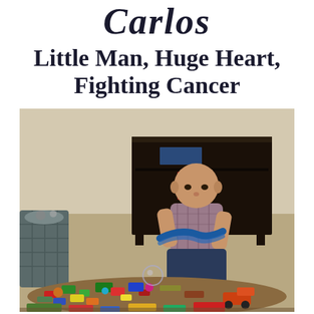Carlos
Little Man, Huge Heart, Fighting Cancer
[Figure (photo): A young toddler boy with a bald head (indicating chemotherapy treatment) sitting on a carpeted floor, wearing a plaid shirt and dark jeans, playing with a large pile of colorful toys and LEGOs. A dark wooden TV stand and a laundry basket are visible in the background.]